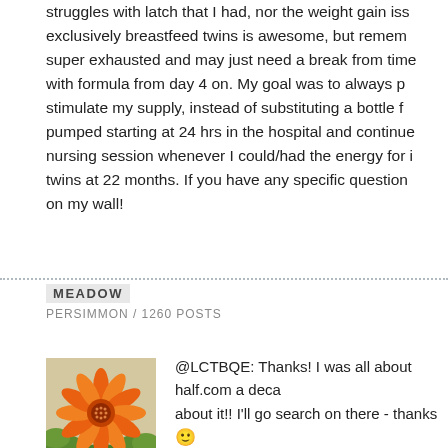struggles with latch that I had, nor the weight gain iss exclusively breastfeed twins is awesome, but remem super exhausted and may just need a break from time with formula from day 4 on. My goal was to always p stimulate my supply, instead of substituting a bottle f pumped starting at 24 hrs in the hospital and continue nursing session whenever I could/had the energy for i twins at 22 months. If you have any specific question on my wall!
MEADOW
PERSIMMON / 1260 POSTS
[Figure (photo): Orange gerbera daisy flower avatar image]
@LCTBQE: Thanks! I was all about half.com a deca about it!! I'll go search on there - thanks 🙂
@avivoca: Thanks - I'll go back and read some of Mr specifically about BFing.
@twodoghouse: Thanks for your suggestion. I hope t its EBF or BF + formula....I am starting to feel like I